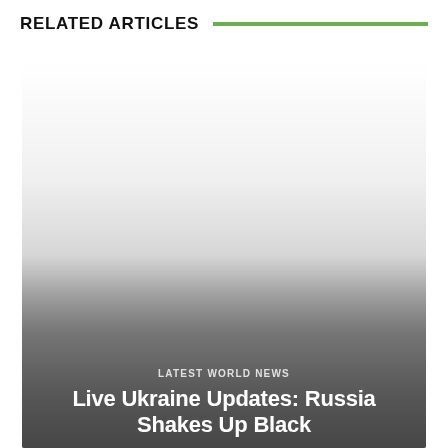RELATED ARTICLES
[Figure (photo): News article card with a faded gray gradient background image, overlaid with category label 'LATEST WORLD NEWS' and article headline 'Live Ukraine Updates: Russia Shakes Up Black']
LATEST WORLD NEWS
Live Ukraine Updates: Russia Shakes Up Black